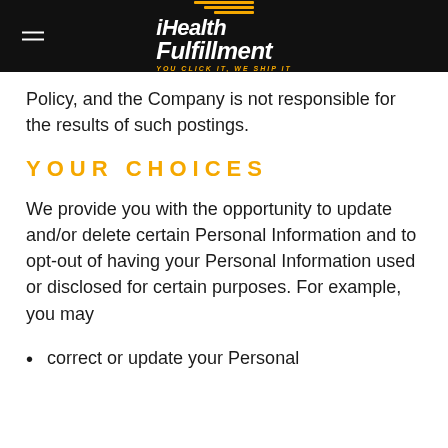iHealth Fulfillment — YOU CLICK IT, WE SHIP IT
Policy, and the Company is not responsible for the results of such postings.
YOUR CHOICES
We provide you with the opportunity to update and/or delete certain Personal Information and to opt-out of having your Personal Information used or disclosed for certain purposes. For example, you may
correct or update your Personal